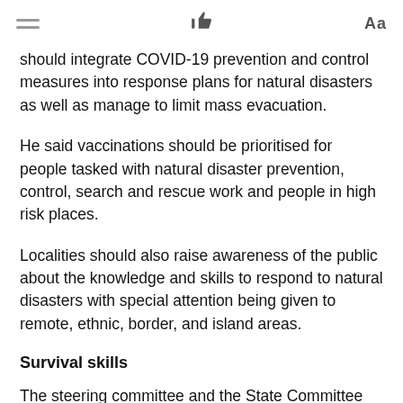≡  👍  Aa
should integrate COVID-19 prevention and control measures into response plans for natural disasters as well as manage to limit mass evacuation.
He said vaccinations should be prioritised for people tasked with natural disaster prevention, control, search and rescue work and people in high risk places.
Localities should also raise awareness of the public about the knowledge and skills to respond to natural disasters with special attention being given to remote, ethnic, border, and island areas.
Survival skills
The steering committee and the State Committee